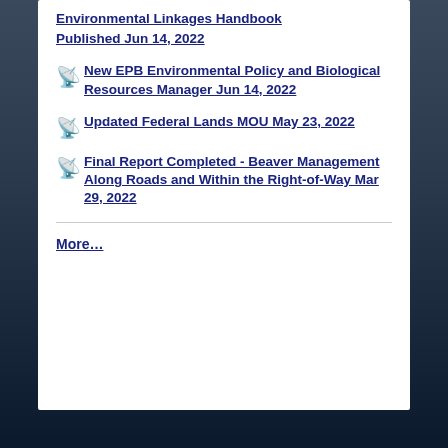Environmental Linkages Handbook Published Jun 14, 2022
New EPB Environmental Policy and Biological Resources Manager Jun 14, 2022
Updated Federal Lands MOU May 23, 2022
Final Report Completed - Beaver Management Along Roads and Within the Right-of-Way Mar 29, 2022
More…